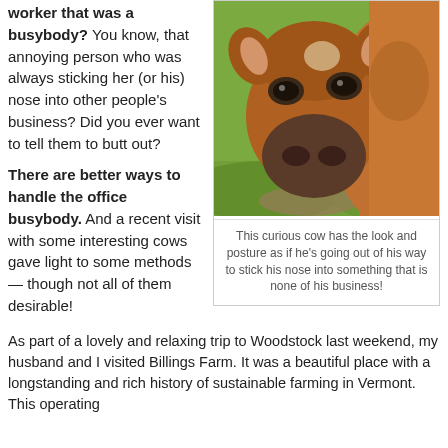worker that was a busybody? You know, that annoying person who was always sticking her (or his) nose into other people's business? Did you ever want to tell them to butt out?
There are better ways to handle the office busybody. And a recent visit with some interesting cows gave light to some methods — though not all of them desirable!
[Figure (photo): A close-up photo of a curious brown cow with its face turned toward the camera, nose prominent, standing in a green grassy field.]
This curious cow has the look and posture as if he's going out of his way to stick his nose into something that is none of his business!
As part of a lovely and relaxing trip to Woodstock last weekend, my husband and I visited Billings Farm. It was a beautiful place with a longstanding and rich history of sustainable farming in Vermont. This operating